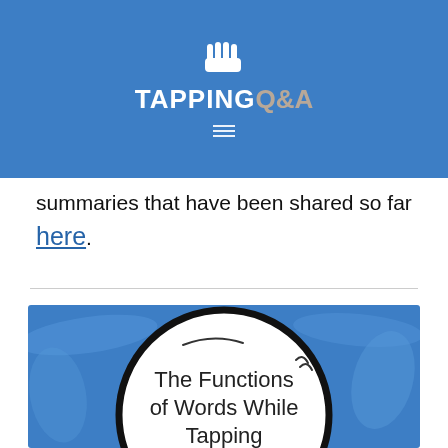[Figure (logo): Tapping Q&A website logo with hand icon on blue background header]
summaries that have been shared so far here.
[Figure (infographic): Infographic with blue background showing a large circle with text 'The Functions of Words While Tapping' inside]